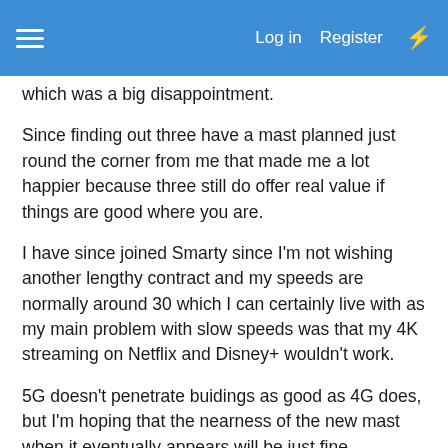Log in  Register
which was a big disappointment.
Since finding out three have a mast planned just round the corner from me that made me a lot happier because three still do offer real value if things are good where you are.
I have since joined Smarty since I'm not wishing another lengthy contract and my speeds are normally around 30 which I can certainly live with as my main problem with slow speeds was that my 4K streaming on Netflix and Disney+ wouldn't work.
5G doesn't penetrate buidings as good as 4G does, but I'm hoping that the nearness of the new mast when it eventually appears will be just fine.
We won't really know how things will pan out until it's switched on.
Exciting times ahead for sure.